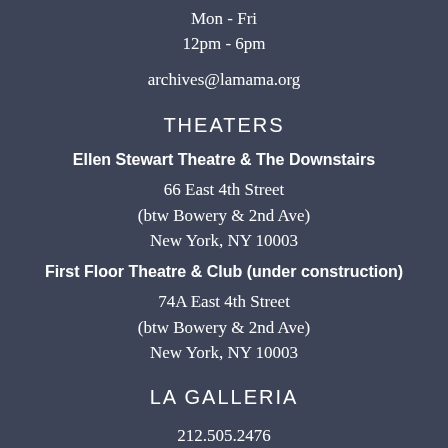Mon - Fri
12pm - 6pm
archives@lamama.org
THEATERS
Ellen Stewart Theatre & The Downstairs
66 East 4th Street
(btw Bowery & 2nd Ave)
New York, NY 10003
First Floor Theatre & Club (under construction)
74A East 4th Street
(btw Bowery & 2nd Ave)
New York, NY 10003
LA GALLERIA
212.505.2476